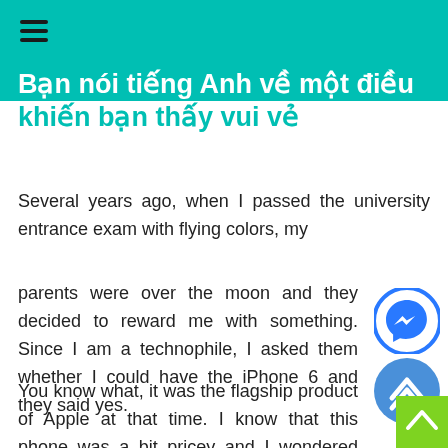≡
Bạn nói tiếng Anh về một điều khiến bạn thấy vui vẻ
Several years ago, when I passed the university entrance exam with flying colors, my
parents were over the moon and they decided to reward me with something. Since I am a technophile, I asked them whether I could have the iPhone 6 and they said yes.
You know what, it was the flagship product of Apple at that time. I know that this phone was a bit pricey and I wondered whether it was worth every penny. But in fact, the phone was good value for money. I love it oh so mu...